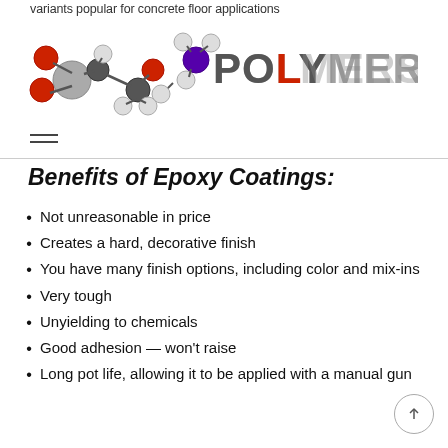variants popular for concrete floor applications
[Figure (logo): PolymersWorld logo with molecular structure graphic and text POLYMERSWORLD]
Benefits of Epoxy Coatings:
Not unreasonable in price
Creates a hard, decorative finish
You have many finish options, including color and mix-ins
Very tough
Unyielding to chemicals
Good adhesion — won't raise
Long pot life, allowing it to be applied with a manual gun